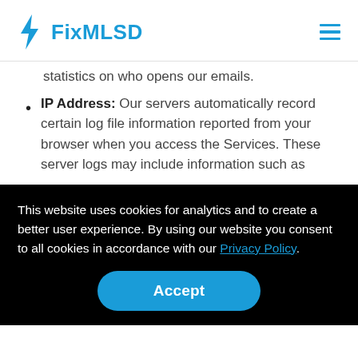FixMLSD
statistics on who opens our emails.
IP Address: Our servers automatically record certain log file information reported from your browser when you access the Services. These server logs may include information such as
This website uses cookies for analytics and to create a better user experience. By using our website you consent to all cookies in accordance with our Privacy Policy.
Accept